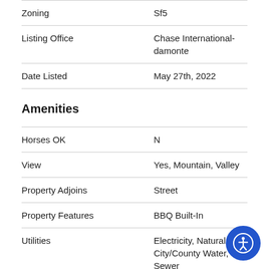| Property | Value |
| --- | --- |
| Zoning | Sf5 |
| Listing Office | Chase International-damonte |
| Date Listed | May 27th, 2022 |
Amenities
| Property | Value |
| --- | --- |
| Horses OK | N |
| View | Yes, Mountain, Valley |
| Property Adjoins | Street |
| Property Features | BBQ Built-In |
| Utilities | Electricity, Natural Gas, City/County Water, City Sewer |
| Heating/Cooling | Natural Gas, Electric, |